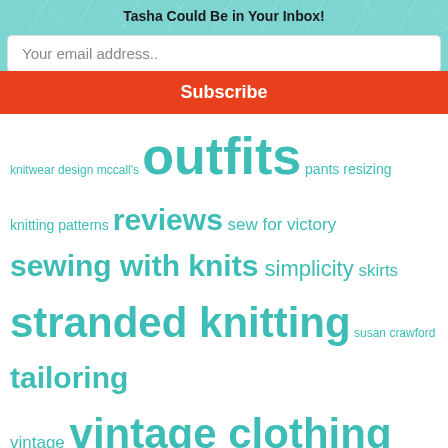Tasha Could Be in Your Inbox!
Your email address..
Subscribe
knitwear design mccall's outfits pants resizing knitting patterns reviews sew for victory sewing with knits simplicity skirts stranded knitting susan crawford tailoring vintage vintage clothing vintage hair vintage knitting vintage knitting college vintage knitting patterns vintage pledge vintage sewing vintage sewing patterns wisconsin
Posts